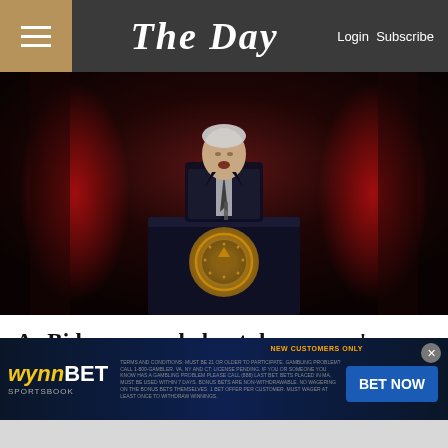The Day — Login Subscribe
[Figure (photo): President Joe Biden speaking at a podium with the Presidential Seal, against a dark red-lit background with architectural columns]
As Biden warned about democracy's collapse, TV networks aired reruns
While President Joe Biden warned the nation about threats to democracy in a
[Figure (other): WynnBET Sportsbook advertisement banner with Bet Now button]